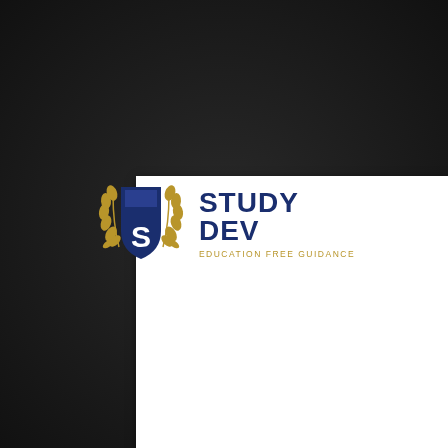[Figure (logo): StudyDev logo featuring a dark navy blue shield with letter S in white, flanked by golden laurel wreaths on left and right, with 'STUDY DEV' text in bold navy blue and 'EDUCATION FREE GUIDANCE' tagline in gold below, on a white card background surrounded by dark blurred background]